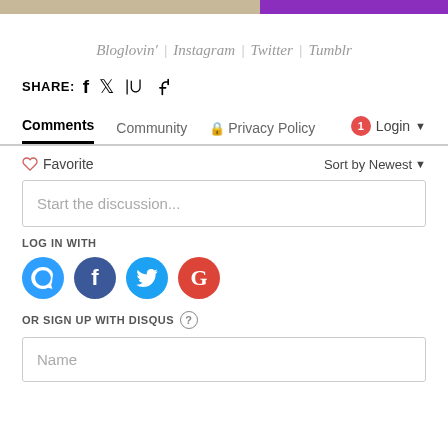[Figure (other): Top banner image split: left portion showing a brownish/tan image, right portion showing a purple banner]
Bloglovin' | Instagram | Twitter | Tumblr
SHARE: [social share icons: facebook, twitter, tumblr, pinterest]
Comments  Community  🔒 Privacy Policy  🔴1  Login ▾
🤍 Favorite    Sort by Newest ▾
Start the discussion...
LOG IN WITH
OR SIGN UP WITH DISQUS ?
Name